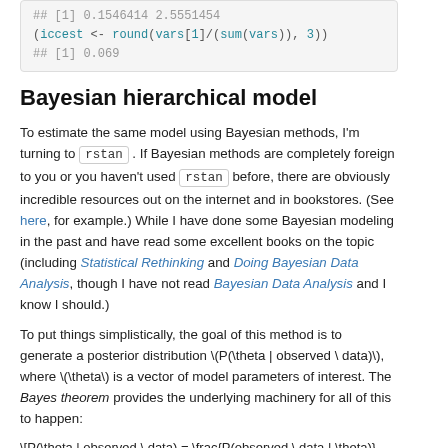[Figure (screenshot): Code block showing R output and code: ## [1] 0.1546414 2.5551454 followed by (iccest <- round(vars[1]/(sum(vars)), 3)) and ## [1] 0.069]
Bayesian hierarchical model
To estimate the same model using Bayesian methods, I'm turning to rstan . If Bayesian methods are completely foreign to you or you haven't used rstan before, there are obviously incredible resources out on the internet and in bookstores. (See here, for example.) While I have done some Bayesian modeling in the past and have read some excellent books on the topic (including Statistical Rethinking and Doing Bayesian Data Analysis, though I have not read Bayesian Data Analysis and I know I should.)
To put things simplistically, the goal of this method is to generate a posterior distribution \(P(\theta | observed \ data)\), where \(\theta\) is a vector of model parameters of interest. The Bayes theorem provides the underlying machinery for all of this to happen:
\(P(observed \ data | \theta)\) is the data likelihood and \(P(\theta)\) is the prior distribution. Both need to be